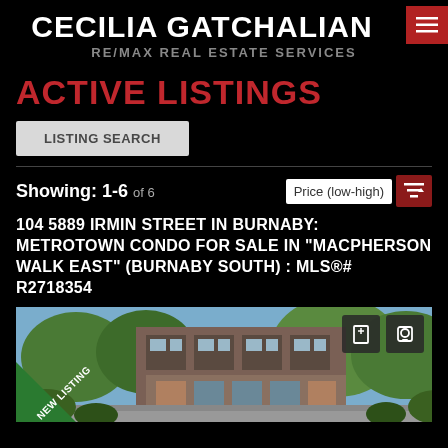CECILIA GATCHALIAN
RE/MAX REAL ESTATE SERVICES
ACTIVE LISTINGS
Showing: 1-6 of 6
Price (low-high)
104 5889 IRMIN STREET IN BURNABY: METROTOWN CONDO FOR SALE IN "MACPHERSON WALK EAST" (BURNABY SOUTH) : MLS®# R2718354
[Figure (photo): Exterior photo of a multi-storey residential condo building surrounded by trees, with a 'NEW LISTING' green badge overlay in the bottom-left corner.]